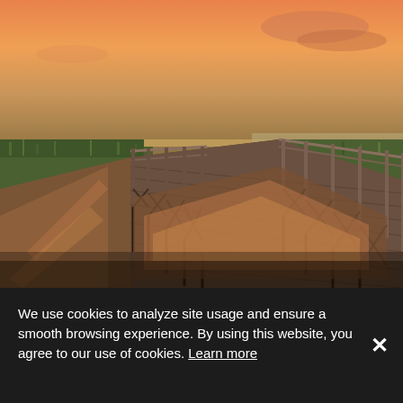[Figure (photo): A wooden boardwalk/bridge extending over a marsh with calm water reflecting an orange and pink sunset sky. Green marsh grasses flank the walkway on both sides. The scene is at dusk with vibrant warm colors in the sky.]
We use cookies to analyze site usage and ensure a smooth browsing experience. By using this website, you agree to our use of cookies. Learn more